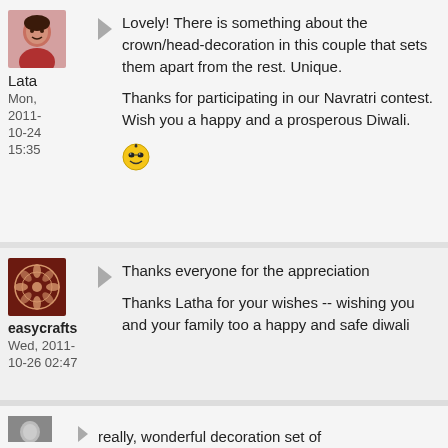[Figure (photo): Avatar photo of user Lata, woman in red clothing]
Lata
Mon, 2011-10-24 15:35
Lovely! There is something about the crown/head-decoration in this couple that sets them apart from the rest. Unique.

Thanks for participating in our Navratri contest.
Wish you a happy and a prosperous Diwali.
[Figure (illustration): Smiley face emoji with sunglasses]
[Figure (photo): Avatar of user easycrafts, decorative circular pattern on dark red background]
easycrafts
Wed, 2011-10-26 02:47
Thanks everyone for the appreciation

Thanks Latha for your wishes -- wishing you and your family too a happy and safe diwali
[Figure (photo): Avatar photo of a third user]
really, wonderful decoration set of